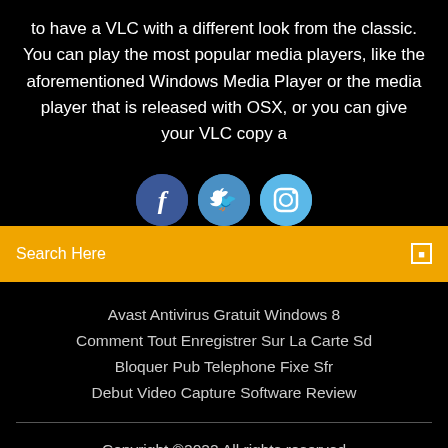to have a VLC with a different look from the classic. You can play the most popular media players, like the aforementioned Windows Media Player or the media player that is released with OSX, or you can give your VLC copy a
[Figure (illustration): Three social media icon circles: Facebook (dark blue), Twitter (medium blue), Instagram (light blue), partially overlapping a black background and the orange search bar below.]
Search Here
Avast Antivirus Gratuit Windows 8
Comment Tout Enregistrer Sur La Carte Sd
Bloquer Pub Telephone Fixe Sfr
Debut Video Capture Software Review
Copyright ©2022 All rights reserved